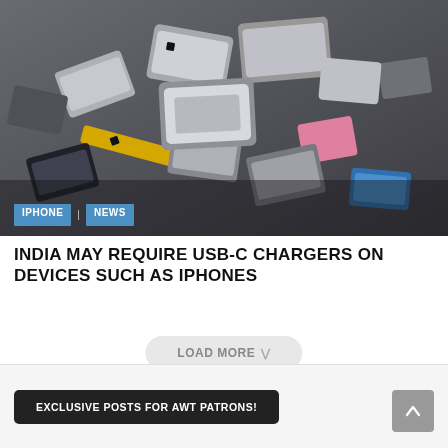[Figure (photo): Pile of various USB connectors and cable ends in multiple colors including silver, black, yellow, blue, and pink]
INDIA MAY REQUIRE USB-C CHARGERS ON DEVICES SUCH AS IPHONES
LOAD MORE
EXCLUSIVE POSTS FOR AWT PATRONS!